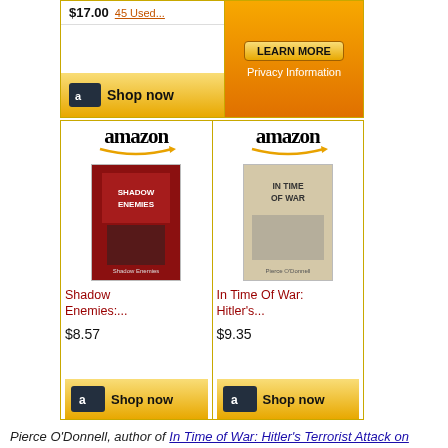[Figure (other): Amazon advertisement showing two book listings: Shadow Enemies (price area partially cropped) and a privacy/learn more panel. Top row shows price '$17.00' with used options and 'Shop now' button alongside orange privacy info panel.]
[Figure (other): Amazon advertisement showing two book listings: 'Shadow Enemies' ($8.57) and 'In Time Of War: Hitler's...' ($9.35), each with Amazon logo, book cover image, title link, price, and 'Shop now' button.]
Pierce O'Donnell, author of In Time of War: Hitler's Terrorist Attack on America, discussed his book on C-SPAN here.
Jurisprudence is not the only artifact of the Nazi saboteurs' failed infiltration.
Bizarrely, a tributary slab "in memory of agents of the German Abwehr" was discovered in 2006 illicitly placed on National Park Service land in southeast Washington DC, the same vicinity where the saboteurs had been secretly buri...